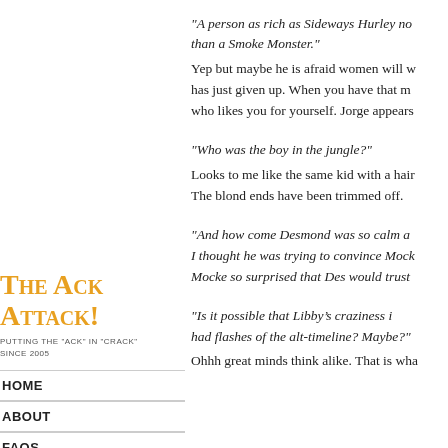The Ack Attack!
putting the "ack" in "crack" since 2005
HOME
ABOUT
FAQS
LOST RECAPS
FEED
“A person as rich as Sideways Hurley no than a Smoke Monster.”
Yep but maybe he is afraid women will w has just given up. When you have that m who likes you for yourself. Jorge appears
“Who was the boy in the jungle?”
Looks to me like the same kid with a hair
The blond ends have been trimmed off.
“And how come Desmond was so calm a I thought he was trying to convince Mock Mocke so surprised that Des would trust
“Is it possible that Libby’s craziness i had flashes of the alt-timeline? Maybe?”
Ohhh great minds think alike. That is wha